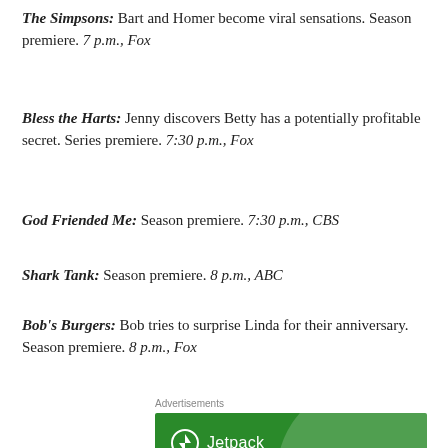The Simpsons: Bart and Homer become viral sensations. Season premiere. 7 p.m., Fox
Bless the Harts: Jenny discovers Betty has a potentially profitable secret. Series premiere. 7:30 p.m., Fox
God Friended Me: Season premiere. 7:30 p.m., CBS
Shark Tank: Season premiere. 8 p.m., ABC
Bob's Burgers: Bob tries to surprise Linda for their anniversary. Season premiere. 8 p.m., Fox
Advertisements
[Figure (other): Jetpack advertisement banner: green background with circular highlight, Jetpack logo and text reading 'The best real-time WordPress backup plugin']